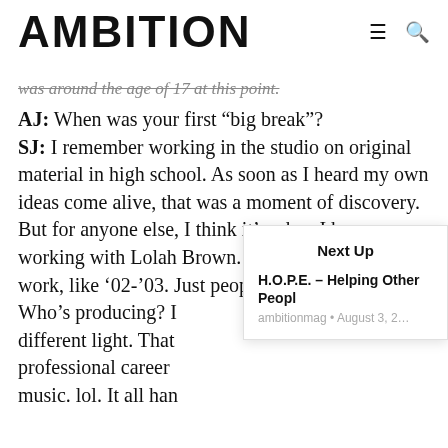AMBITION
was around the age of 17 at this point.
AJ: When was your first “big break”?
SJ: I remember working in the studio on original material in high school. As soon as I heard my own ideas come alive, that was a moment of discovery. But for anyone else, I think it’s when I began working with Lolah Brown. I’m talking early work, like ’02-’03. Just people asking abou Who’s producing? I different light. That professional career music. lol. It all han
Next Up
H.O.P.E. – Helping Other Peopl ambitionmag • August 3, 2…